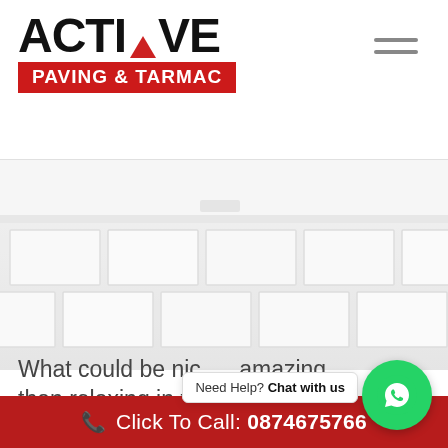[Figure (logo): Active Paving & Tarmac logo — large bold black text 'ACTIVE' with red triangle above the I, and red banner below reading 'PAVING & TARMAC' in white]
[Figure (photo): Hero photo of light-colored paving slabs arranged in a herringbone/offset pattern, viewed at a low angle showing steps or an edge in the background. Very pale/white tones.]
What could be nice... than relaxing in the garden with a glass of fine
[Figure (other): WhatsApp chat widget — green circular button with WhatsApp icon, and a tooltip reading 'Need Help? Chat with us']
Click To Call: 0874675766